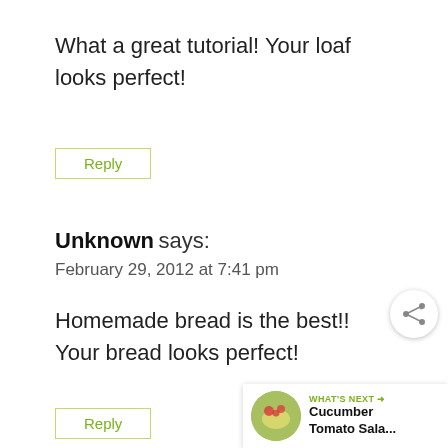What a great tutorial! Your loaf looks perfect!
Reply
Unknown says:
February 29, 2012 at 7:41 pm
Homemade bread is the best!! Your bread looks perfect!
Reply